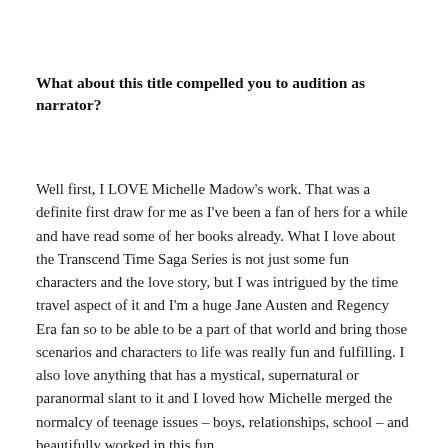What about this title compelled you to audition as narrator?
Well first, I LOVE Michelle Madow's work. That was a definite first draw for me as I've been a fan of hers for a while and have read some of her books already. What I love about the Transcend Time Saga Series is not just some fun characters and the love story, but I was intrigued by the time travel aspect of it and I'm a huge Jane Austen and Regency Era fan so to be able to be a part of that world and bring those scenarios and characters to life was really fun and fulfilling. I also love anything that has a mystical, supernatural or paranormal slant to it and I loved how Michelle merged the normalcy of teenage issues – boys, relationships, school – and beautifully worked in this fun